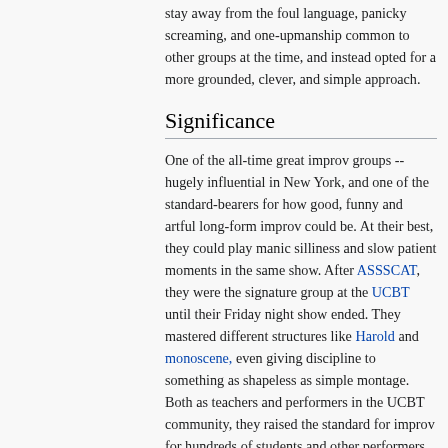stay away from the foul language, panicky screaming, and one-upmanship common to other groups at the time, and instead opted for a more grounded, clever, and simple approach.
Significance
One of the all-time great improv groups -- hugely influential in New York, and one of the standard-bearers for how good, funny and artful long-form improv could be. At their best, they could play manic silliness and slow patient moments in the same show. After ASSSCAT, they were the signature group at the UCBT until their Friday night show ended. They mastered different structures like Harold and monoscene, even giving discipline to something as shapeless as simple montage. Both as teachers and performers in the UCBT community, they raised the standard for improv for hundreds of students and other performers.
Famous moments